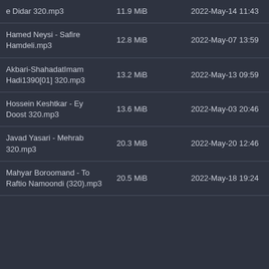| Name | Size | Date |
| --- | --- | --- |
| e Didar 320.mp3 | 11.9 MiB | 2022-May-14 11:43 |
| Hamed Neysi - Safire Hamdeli.mp3 | 12.8 MiB | 2022-May-07 13:59 |
| Akbari-ShahadatImam Hadi1390[01] 320.mp3 | 13.2 MiB | 2022-May-13 09:59 |
| Hossein Keshtkar - Ey Doost 320.mp3 | 13.6 MiB | 2022-May-03 20:46 |
| Javad Yasari - Mehrab 320.mp3 | 20.3 MiB | 2022-May-20 12:46 |
| Mahyar Boroomand - To Raftio Namoondi (320).mp3 | 20.5 MiB | 2022-May-18 19:24 |